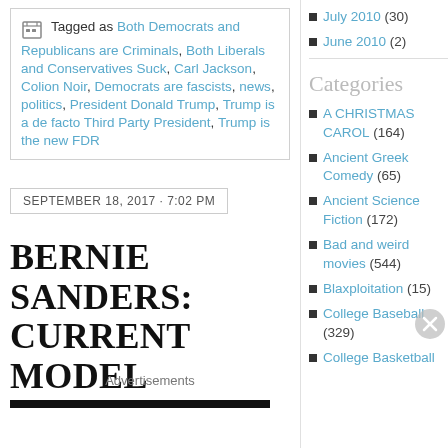Tagged as Both Democrats and Republicans are Criminals, Both Liberals and Conservatives Suck, Carl Jackson, Colion Noir, Democrats are fascists, news, politics, President Donald Trump, Trump is a de facto Third Party President, Trump is the new FDR
SEPTEMBER 18, 2017 · 7:02 PM
BERNIE SANDERS: CURRENT MODEL
Advertisements
July 2010 (30)
June 2010 (2)
Categories
A CHRISTMAS CAROL (164)
Ancient Greek Comedy (65)
Ancient Science Fiction (172)
Bad and weird movies (544)
Blaxploitation (15)
College Baseball (329)
College Basketball